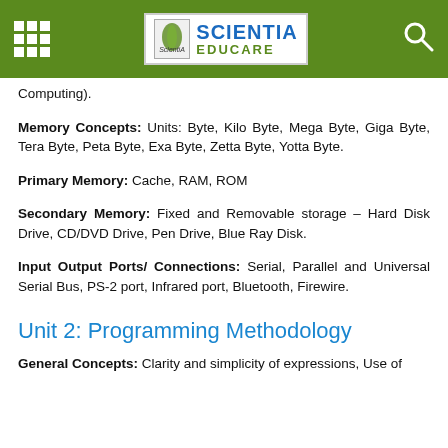Scientia Educare
Computing).
Memory Concepts: Units: Byte, Kilo Byte, Mega Byte, Giga Byte, Tera Byte, Peta Byte, Exa Byte, Zetta Byte, Yotta Byte.
Primary Memory: Cache, RAM, ROM
Secondary Memory: Fixed and Removable storage – Hard Disk Drive, CD/DVD Drive, Pen Drive, Blue Ray Disk.
Input Output Ports/ Connections: Serial, Parallel and Universal Serial Bus, PS-2 port, Infrared port, Bluetooth, Firewire.
Unit 2: Programming Methodology
General Concepts: Clarity and simplicity of expressions, Use of